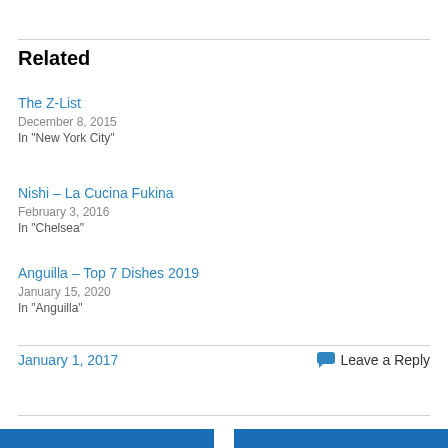Related
The Z-List
December 8, 2015
In "New York City"
Nishi – La Cucina Fukina
February 3, 2016
In "Chelsea"
Anguilla – Top 7 Dishes 2019
January 15, 2020
In "Anguilla"
January 1, 2017
Leave a Reply